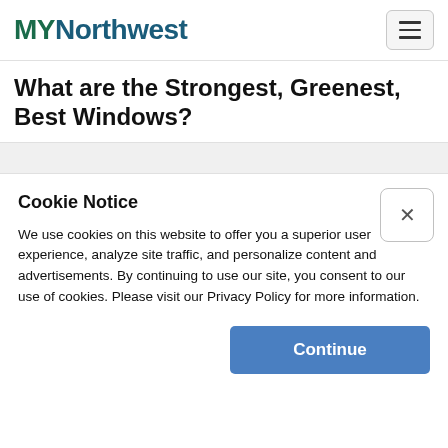MYNorthwest
What are the Strongest, Greenest, Best Windows?
Cookie Notice
We use cookies on this website to offer you a superior user experience, analyze site traffic, and personalize content and advertisements. By continuing to use our site, you consent to our use of cookies. Please visit our Privacy Policy for more information.